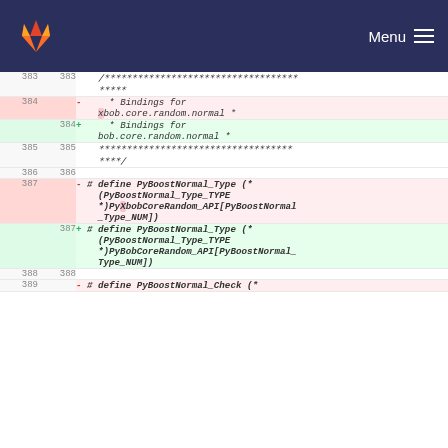GitLab — Menu
| old_line | new_line | sign | code |
| --- | --- | --- | --- |
| 383 | 383 |  |     /***********************************\n    ***** |
| 384 |  | -  |     * Bindings for xbob.core.random.normal * |
|  | 384 | +  |     * Bindings for bob.core.random.normal * |
| 385 | 385 |  |     ***********************************\n    ****/ |
| 386 | 386 |  |  |
| 387 |  | -  | # define PyBoostNormal_Type (* (PyBoostNormal_Type_TYPE *)PyXbobCoreRandom_API[PyBoostNormal_Type_NUM]) |
|  | 387 | +  | # define PyBoostNormal_Type (* (PyBoostNormal_Type_TYPE *)PyBobCoreRandom_API[PyBoostNormal_Type_NUM]) |
| 388 | 388 |  |  |
| 389 |  |  | # define PyBoostNormal_Check (*... |